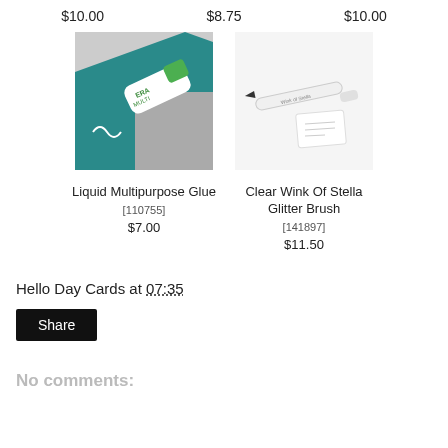$10.00   $8.75   $10.00
[Figure (photo): Liquid Multipurpose Glue product photo showing a green and white glue tube on a teal cutting mat with a grey background]
Liquid Multipurpose Glue
[110755]
$7.00
[Figure (photo): Clear Wink Of Stella Glitter Brush product photo showing a white pen/brush tool with a small white card]
Clear Wink Of Stella Glitter Brush
[141897]
$11.50
Hello Day Cards at 07:35
Share
No comments: